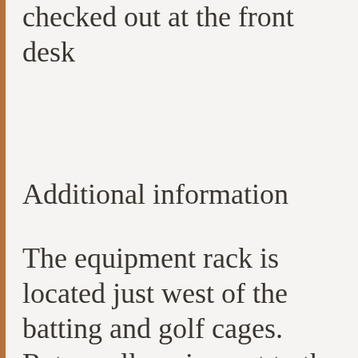checked out at the front desk
Additional information
The equipment rack is located just west of the batting and golf cages. Return all equipment to the rack when you are finished. Please keep